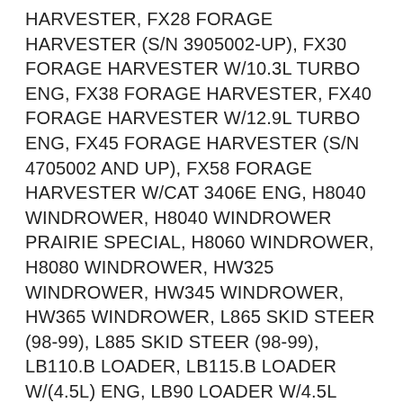HARVESTER, FX28 FORAGE HARVESTER (S/N 3905002-UP), FX30 FORAGE HARVESTER W/10.3L TURBO ENG, FX38 FORAGE HARVESTER, FX40 FORAGE HARVESTER W/12.9L TURBO ENG, FX45 FORAGE HARVESTER (S/N 4705002 AND UP), FX58 FORAGE HARVESTER W/CAT 3406E ENG, H8040 WINDROWER, H8040 WINDROWER PRAIRIE SPECIAL, H8060 WINDROWER, H8080 WINDROWER, HW325 WINDROWER, HW345 WINDROWER, HW365 WINDROWER, L865 SKID STEER (98-99), L885 SKID STEER (98-99), LB110.B LOADER, LB115.B LOADER W/(4.5L) ENG, LB90 LOADER W/4.5L ENG, LB90.B LOADER, LM5040 TELEHANDLER, LM5060 TELEHANDLER, LM5080 TELEHANDLER, LS180 SKID STEER, LS190 SKID STEER, LX865 SKID STEER (98-99), LX885 SKID STEER (98-99), LX985 SKID STEER, M427 TELEHANDLER, M428 TELEHANDLER, M459 TELEHANDLER, TR100, TR110, TR120, TD79D